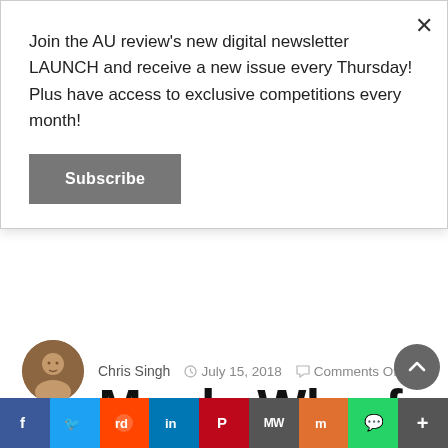Join the AU review's new digital newsletter LAUNCH and receive a new issue every Thursday! Plus have access to exclusive competitions every month!
Subscribe
on Manly Wharf (Sydney)
Chris Singh   July 15, 2018   Comments Off
Based on the success of Merivale's Enmore debut, the
f  Twitter  Reddit  in  Pinterest  MW  Mix  WhatsApp  More